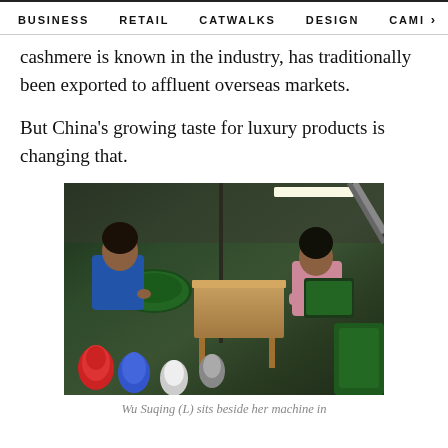BUSINESS   RETAIL   CATWALKS   DESIGN   CAMI  >
cashmere is known in the industry, has traditionally been exported to affluent overseas markets.
But China's growing taste for luxury products is changing that.
[Figure (photo): Workshop interior showing two women working at knitting machines with spools of thread in the foreground]
Wu Suqing (L) sits beside her machine in